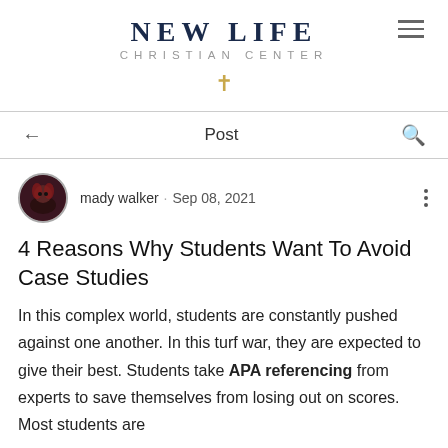NEW LIFE CHRISTIAN CENTER
Post
mady walker · Sep 08, 2021
4 Reasons Why Students Want To Avoid Case Studies
In this complex world, students are constantly pushed against one another. In this turf war, they are expected to give their best. Students take APA referencing from experts to save themselves from losing out on scores. Most students are